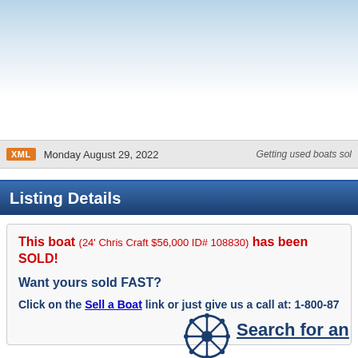[Figure (photo): Top banner image area with blue sky/water gradient background]
XML  Monday August 29, 2022  Getting used boats sol...
Listing Details
This boat (24' Chris Craft $56,000 ID# 108830) has been SOLD!
Want yours sold FAST?
Click on the Sell a Boat link or just give us a call at: 1-800-872-2628
Search for an...